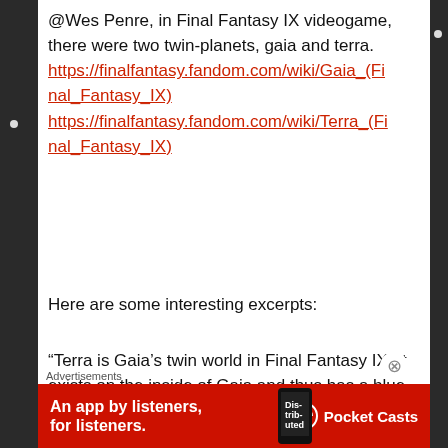@Wes Penre, in Final Fantasy IX videogame, there were two twin-planets, gaia and terra. https://finalfantasy.fandom.com/wiki/Gaia_(Final_Fantasy_IX) https://finalfantasy.fandom.com/wiki/Terra_(Final_Fantasy_IX)
Here are some interesting excerpts:
“Terra is Gaia’s twin world in Final Fantasy IX. It exists on the inside of Gaia and thus has a blue hue to it, being affected by Gaia’s crystal. Terra is a mysterious world that exists
[Figure (infographic): Red Pocket Casts advertisement banner: 'An app by listeners, for listeners.' with Pocket Casts logo and phone image]